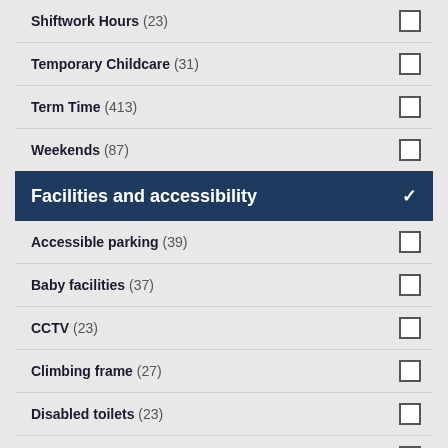Shiftwork Hours (23)
Temporary Childcare (31)
Term Time (413)
Weekends (87)
Facilities and accessibility
Accessible parking (39)
Baby facilities (37)
CCTV (23)
Climbing frame (27)
Disabled toilets (23)
Garden (38)
Healthy eating (40)
Outdoor playspace (43)